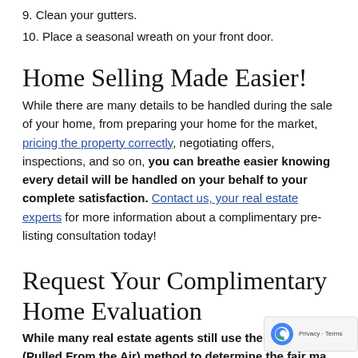9. Clean your gutters.
10. Place a seasonal wreath on your front door.
Home Selling Made Easier!
While there are many details to be handled during the sale of your home, from preparing your home for the market, pricing the property correctly, negotiating offers, inspections, and so on, you can breathe easier knowing every detail will be handled on your behalf to your complete satisfaction. Contact us, your real estate experts for more information about a complimentary pre-listing consultation today!
Request Your Complimentary Home Evaluation
While many real estate agents still use the old fashion (Pulled From the Air) method to determine the fair ma...